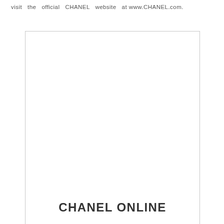visit the official CHANEL website at www.CHANEL.com.
[Figure (other): Vertical bordered box (left and right vertical lines with a top horizontal line) occupying most of the page, with the CHANEL ONLINE heading at the bottom.]
CHANEL ONLINE